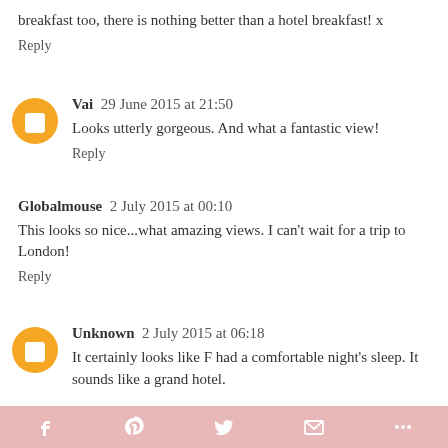breakfast too, there is nothing better than a hotel breakfast! x
Reply
Vai  29 June 2015 at 21:50
Looks utterly gorgeous. And what a fantastic view!
Reply
Globalmouse  2 July 2015 at 00:10
This looks so nice...what amazing views. I can't wait for a trip to London!
Reply
Unknown  2 July 2015 at 06:18
It certainly looks like F had a comfortable night's sleep. It sounds like a grand hotel.
f  P  Twitter  Mail  More